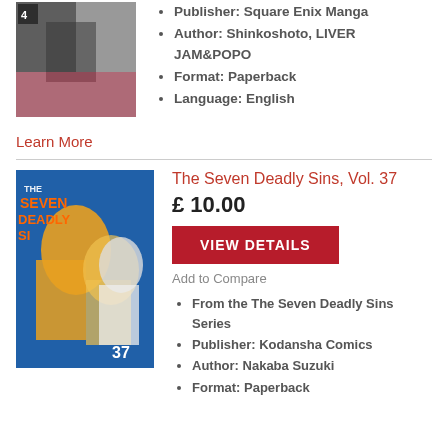[Figure (illustration): Book cover image for manga volume (partially visible, cropped)]
Publisher: Square Enix Manga
Author: Shinkoshoto, LIVER JAM&POPO
Format: Paperback
Language: English
Learn More
[Figure (illustration): Book cover of The Seven Deadly Sins, Vol. 37 — shows anime characters on blue background with volume number 37]
The Seven Deadly Sins, Vol. 37
£ 10.00
VIEW DETAILS
Add to Compare
From the The Seven Deadly Sins Series
Publisher: Kodansha Comics
Author: Nakaba Suzuki
Format: Paperback